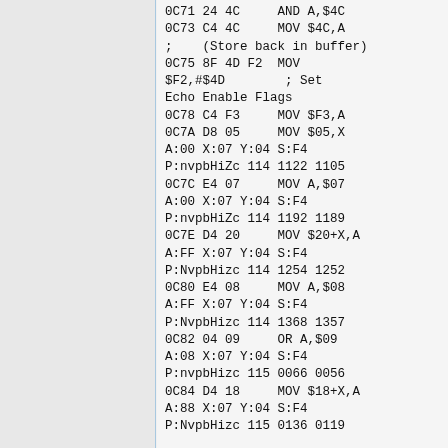0C71 24 4C     AND A,$4C
0C73 C4 4C     MOV $4C,A
;    (Store back in buffer)
0C75 8F 4D F2  MOV
$F2,#$4D        ; Set
Echo Enable Flags
0C78 C4 F3     MOV $F3,A
0C7A D8 05     MOV $05,X
A:00 X:07 Y:04 S:F4
P:nvpbHiZc 114 1122 1105
0C7C E4 07     MOV A,$07
A:00 X:07 Y:04 S:F4
P:nvpbHiZc 114 1192 1189
0C7E D4 20     MOV $20+X,A
A:FF X:07 Y:04 S:F4
P:NvpbHizc 114 1254 1252
0C80 E4 08     MOV A,$08
A:FF X:07 Y:04 S:F4
P:NvpbHizc 114 1368 1357
0C82 04 09     OR A,$09
A:08 X:07 Y:04 S:F4
P:nvpbHizc 115 0066 0056
0C84 D4 18     MOV $18+X,A
A:88 X:07 Y:04 S:F4
P:NvpbHizc 115 0136 0119